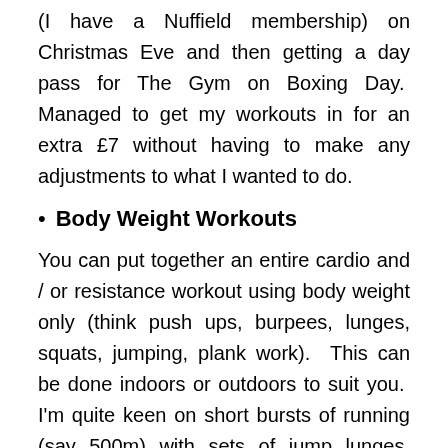(I have a Nuffield membership) on Christmas Eve and then getting a day pass for The Gym on Boxing Day.  Managed to get my workouts in for an extra £7 without having to make any adjustments to what I wanted to do.
Body Weight Workouts
You can put together an entire cardio and / or resistance workout using body weight only (think push ups, burpees, lunges, squats, jumping, plank work).  This can be done indoors or outdoors to suit you.  I'm quite keen on short bursts of running (say 500m) with sets of jump lunges, squat jumps, burpees and press ups performed after every run- gives you a quick all